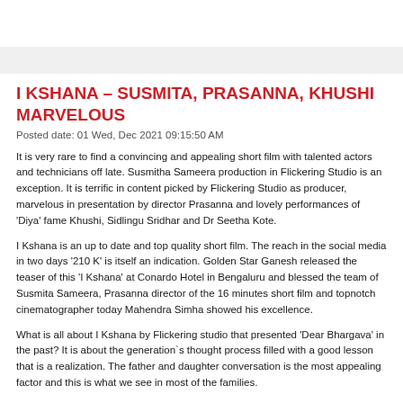I KSHANA – SUSMITA, PRASANNA, KHUSHI MARVELOUS
Posted date: 01 Wed, Dec 2021 09:15:50 AM
It is very rare to find a convincing and appealing short film with talented actors and technicians off late. Susmitha Sameera production in Flickering Studio is an exception. It is terrific in content picked by Flickering Studio as producer, marvelous in presentation by director Prasanna and lovely performances of 'Diya' fame Khushi, Sidlingu Sridhar and Dr Seetha Kote.
I Kshana is an up to date and top quality short film. The reach in the social media in two days '210 K' is itself an indication. Golden Star Ganesh released the teaser of this 'I Kshana' at Conardo Hotel in Bengaluru and blessed the team of Susmita Sameera, Prasanna director of the 16 minutes short film and topnotch cinematographer today Mahendra Simha showed his excellence.
What is all about I Kshana by Flickering studio that presented 'Dear Bhargava' in the past? It is about the generation`s thought process filled with a good lesson that is a realization. The father and daughter conversation is the most appealing factor and this is what we see in most of the families.